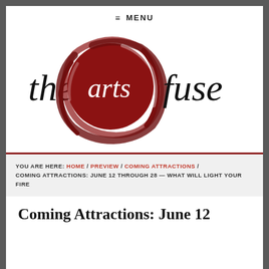≡ MENU
[Figure (logo): The Arts Fuse logo: large red brushstroke circle with white 'arts' text inside, flanked by 'the' and 'fuse' in black serif text]
YOU ARE HERE: HOME / PREVIEW / COMING ATTRACTIONS / COMING ATTRACTIONS: JUNE 12 THROUGH 28 — WHAT WILL LIGHT YOUR FIRE
Coming Attractions: June 12